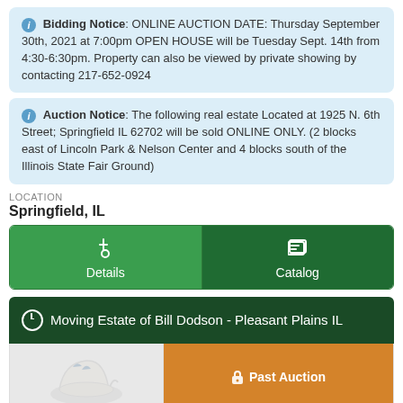Bidding Notice: ONLINE AUCTION DATE: Thursday September 30th, 2021 at 7:00pm OPEN HOUSE will be Tuesday Sept. 14th from 4:30-6:30pm. Property can also be viewed by private showing by contacting 217-652-0924
Auction Notice: The following real estate Located at 1925 N. 6th Street; Springfield IL 62702 will be sold ONLINE ONLY. (2 blocks east of Lincoln Park & Nelson Center and 4 blocks south of the Illinois State Fair Ground)
LOCATION
Springfield, IL
[Figure (other): Two green buttons: Details (light green) and Catalog (dark green) with icons]
Moving Estate of Bill Dodson - Pleasant Plains IL
[Figure (other): Auction item photo of a ceramic pitcher and a Past Auction orange button with a lock icon]